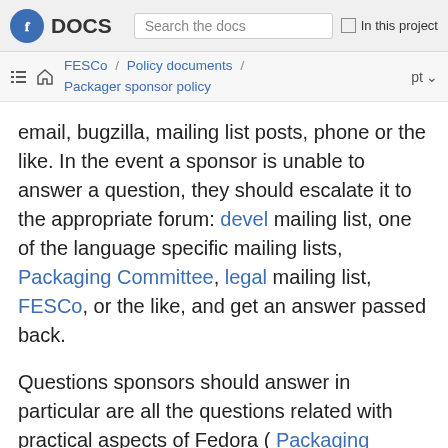Fedora DOCS — Search the docs — In this project
FESCo / Policy documents / Packager sponsor policy — pt
email, bugzilla, mailing list posts, phone or the like. In the event a sponsor is unable to answer a question, they should escalate it to the appropriate forum: devel mailing list, one of the language specific mailing lists, Packaging Committee, legal mailing list, FESCo, or the like, and get an answer passed back.
Questions sponsors should answer in particular are all the questions related with practical aspects of Fedora ( Packaging Guidelines, Build system, VCS, FAS, updates...).